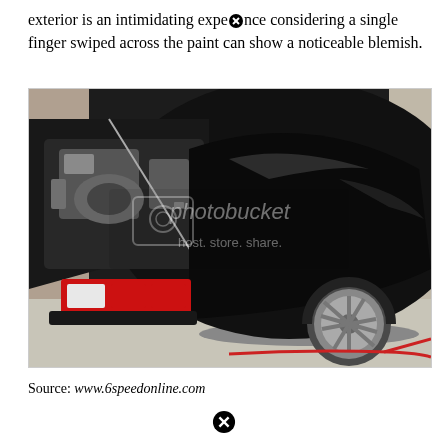exterior is an intimidating experience considering a single finger swiped across the paint can show a noticeable blemish.
[Figure (photo): Black Porsche 993 (911) sports car in a garage with hood/engine bay open on the left and the rear quarter panel and wheel visible on the right. A Photobucket watermark reading 'photobucket host. store. share.' is overlaid on the center of the image. There is a red cable/cord on the floor.]
Source: www.6speedonline.com